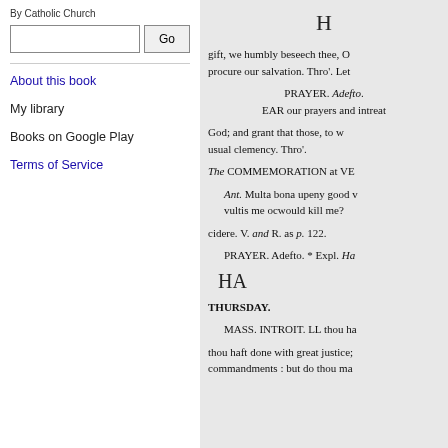By Catholic Church
About this book
My library
Books on Google Play
Terms of Service
H
gift, we humbly beseech thee, O procure our salvation. Thro'. Let
PRAYER. Adefto. EAR our prayers and intreat
God; and grant that those, to w usual clemency. Thro'.
The COMMEMORATION at VE
Ant. Multa bona upeny good v vultis me ocwould kill me?
cidere. V. and R. as p. 122.
PRAYER. Adefto. * Expl. Ha
HA
THURSDAY.
MASS. INTROIT. LL thou ha
thou haft done with great justice; commandments : but do thou ma